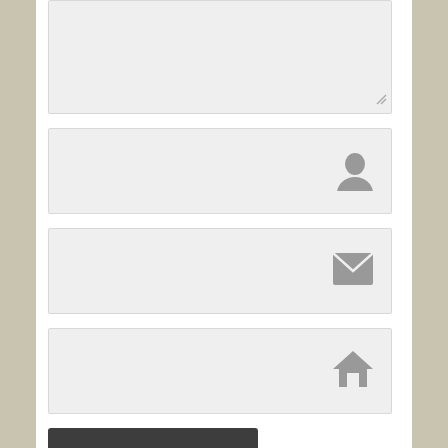[Figure (screenshot): Textarea input field with resize handle at bottom-right]
[Figure (screenshot): Text input field with person/user icon at right]
[Figure (screenshot): Text input field with envelope/email icon at right]
[Figure (screenshot): Text input field with home icon at right]
[Figure (screenshot): Post Comment button, dark gray background with white text]
Notify me of new comments via email.
Notify me of new posts via email.